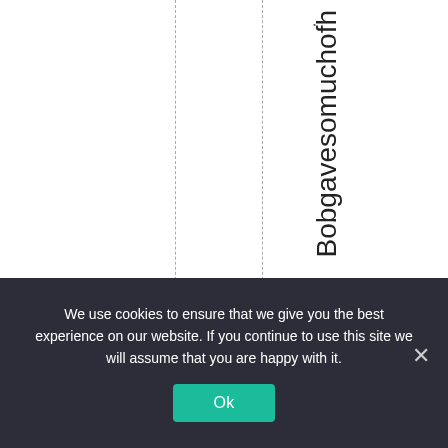. Bobgavesomuchofh
We use cookies to ensure that we give you the best experience on our website. If you continue to use this site we will assume that you are happy with it.
Ok